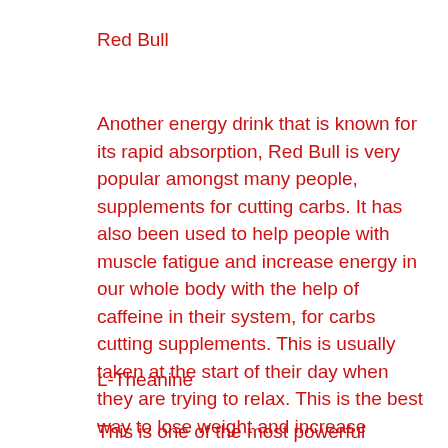Red Bull
Another energy drink that is known for its rapid absorption, Red Bull is very popular amongst many people, supplements for cutting carbs. It has also been used to help people with muscle fatigue and increase energy in our whole body with the help of caffeine in their system, for carbs cutting supplements. This is usually taken at the start of their day when they are trying to relax. This is the best way to lose weight and increase energy levels. Additionally, this vitamin C drink has been used as an anti-aging product and helps our bodies maintain their shape and appearance, cardarine dosage fat loss.
L-Theanine
This is one of the most powerful